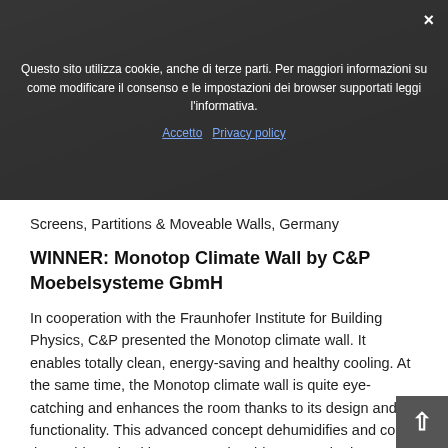[Figure (screenshot): Cookie consent banner overlay on a website, with dark semi-transparent background over a photo. The banner contains Italian text about cookie usage policy, with links 'Accetto' and 'Privacy policy', and a close button (×) on the right.]
Screens, Partitions & Moveable Walls, Germany
WINNER: Monotop Climate Wall by C&P Moebelsysteme GbmH
In cooperation with the Fraunhofer Institute for Building Physics, C&P presented the Monotop climate wall. It enables totally clean, energy-saving and healthy cooling. At the same time, the Monotop climate wall is quite eye-catching and enhances the room thanks to its design and functionality. This advanced concept dehumidifies and cools the ambient air without any noticeable or even bothersome air flow. Furthermore, the